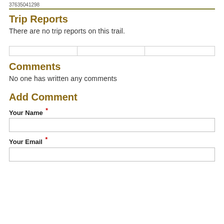37635041298
Trip Reports
There are no trip reports on this trail.
|  |  |  |
| --- | --- | --- |
|  |
Comments
No one has written any comments
Add Comment
Your Name *
Your Email *